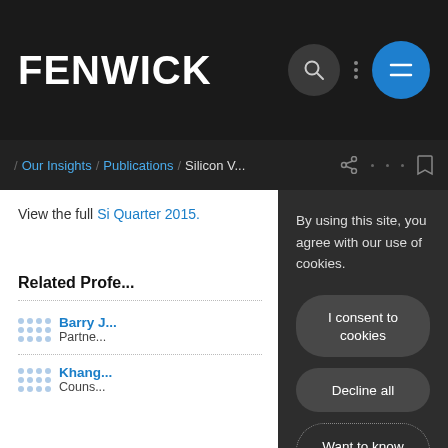FENWICK
/ Our Insights / Publications / Silicon V...
View the full Si... Quarter 2015.
By using this site, you agree with our use of cookies.
I consent to cookies
Decline all
Want to know more?
Privacy policy
Related Profe...
Barry J... Partner...
Khang... Couns...